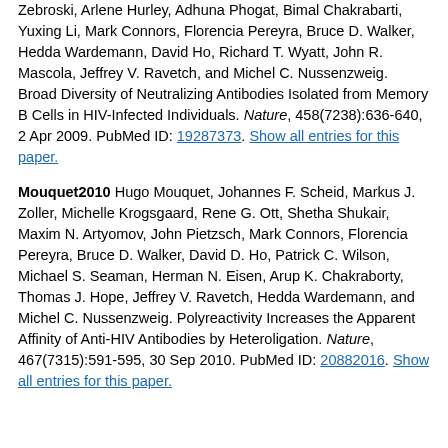Zebroski, Arlene Hurley, Adhuna Phogat, Bimal Chakrabarti, Yuxing Li, Mark Connors, Florencia Pereyra, Bruce D. Walker, Hedda Wardemann, David Ho, Richard T. Wyatt, John R. Mascola, Jeffrey V. Ravetch, and Michel C. Nussenzweig. Broad Diversity of Neutralizing Antibodies Isolated from Memory B Cells in HIV-Infected Individuals. Nature, 458(7238):636-640, 2 Apr 2009. PubMed ID: 19287373. Show all entries for this paper.
Mouquet2010 Hugo Mouquet, Johannes F. Scheid, Markus J. Zoller, Michelle Krogsgaard, Rene G. Ott, Shetha Shukair, Maxim N. Artyomov, John Pietzsch, Mark Connors, Florencia Pereyra, Bruce D. Walker, David D. Ho, Patrick C. Wilson, Michael S. Seaman, Herman N. Eisen, Arup K. Chakraborty, Thomas J. Hope, Jeffrey V. Ravetch, Hedda Wardemann, and Michel C. Nussenzweig. Polyreactivity Increases the Apparent Affinity of Anti-HIV Antibodies by Heteroligation. Nature, 467(7315):591-595, 30 Sep 2010. PubMed ID: 20882016. Show all entries for this paper.